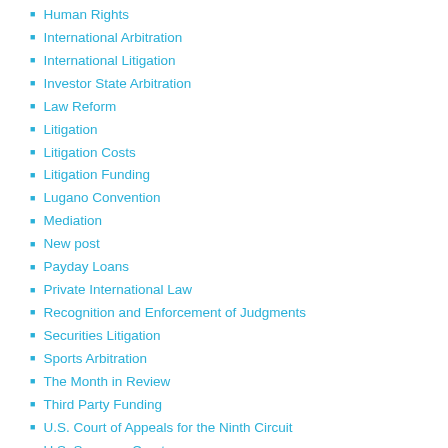Human Rights
International Arbitration
International Litigation
Investor State Arbitration
Law Reform
Litigation
Litigation Costs
Litigation Funding
Lugano Convention
Mediation
New post
Payday Loans
Private International Law
Recognition and Enforcement of Judgments
Securities Litigation
Sports Arbitration
The Month in Review
Third Party Funding
U.S. Court of Appeals for the Ninth Circuit
U.S. Supreme Court
Uncategorized
Weekend Pursuits
Recent articles
EC Commission To Use Alumni Lawsuit Against Lux [to Protect Abcdef...]